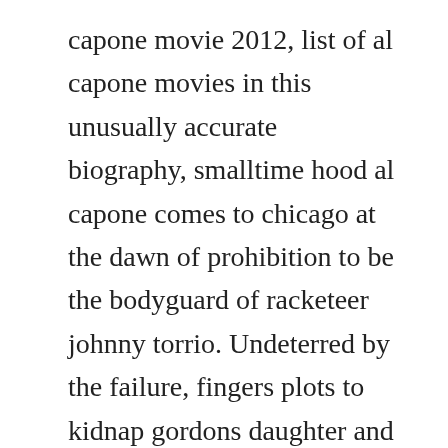capone movie 2012, list of al capone movies in this unusually accurate biography, smalltime hood al capone comes to chicago at the dawn of prohibition to be the bodyguard of racketeer johnny torrio. Undeterred by the failure, fingers plots to kidnap gordons daughter and hold her for ransom. The plot concerns a bunch of inept crooks who kidnap the wife of a shady businessman, only for him to decide he doesnt want her back. They try and rob wealthy but tricky billy gordon who distrusts banks and fears the inland revenue but he sees fingers and the boys off